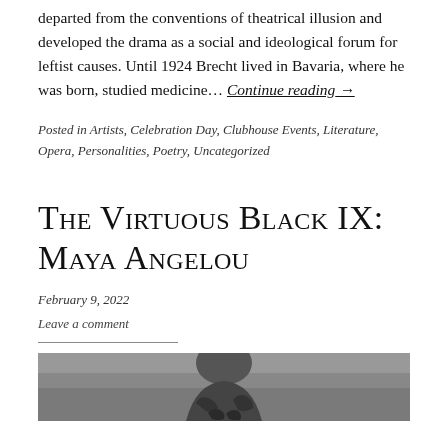departed from the conventions of theatrical illusion and developed the drama as a social and ideological forum for leftist causes. Until 1924 Brecht lived in Bavaria, where he was born, studied medicine… Continue reading →
Posted in Artists, Celebration Day, Clubhouse Events, Literature, Opera, Personalities, Poetry, Uncategorized
The Virtuous Black IX: Maya Angelou
February 9, 2022
Leave a comment
[Figure (photo): Black and white photograph of Maya Angelou, partially visible at the bottom of the page]